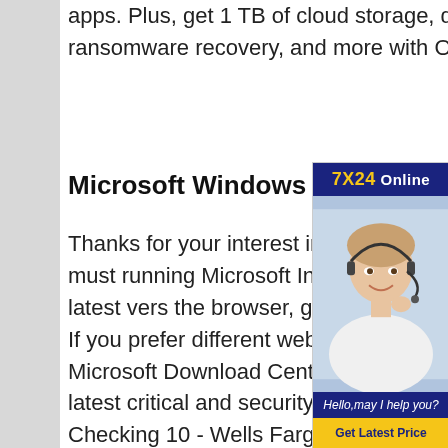apps. Plus, get 1 TB of cloud storage, document sharing, ransomware recovery, and more with OneDrive. Learn more.
Microsoft Windows Update
[Figure (photo): Advertisement banner: '7X24 Online' header in dark blue with yellow text, photo of smiling woman with headset, caption 'Hello,may I help you?' and yellow 'Get Latest Price' button]
Thanks for your interest in getting from us. To use this site, you must running Microsoft Internet Explorer later. To upgrade to the latest vers the browser, go to the Internet Ex Downloads website. If you prefer different web browser, you can ob updates from the Microsoft Download Center or you can stay up to date with the latest critical and security 10 Online Banking - Online Savings Checking 10 - Wells FargoManage your banking online or via your mobile device at wellsfargo. With Wells Fargo Online&Banking, access